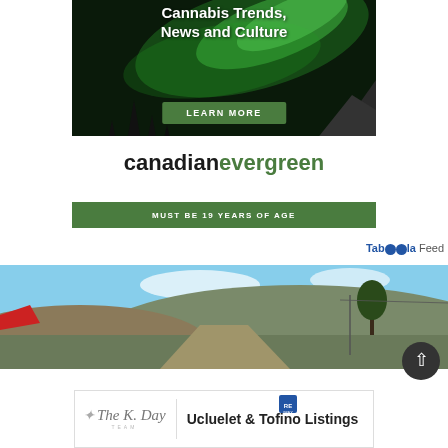[Figure (photo): Canadian Evergreen advertisement with northern lights background, 'Cannabis Trends, News and Culture' headline, green LEARN MORE button, brand name 'canadianevergreen', and green bar 'MUST BE 19 YEARS OF AGE']
Taboola Feed
[Figure (photo): Landscape photo strip showing countryside with hills, road, trees, and blue sky]
[Figure (photo): Real estate advertisement for 'The K. Bay Team' showing Ucluelet & Tofino Listings with RE/MAX logo badge]